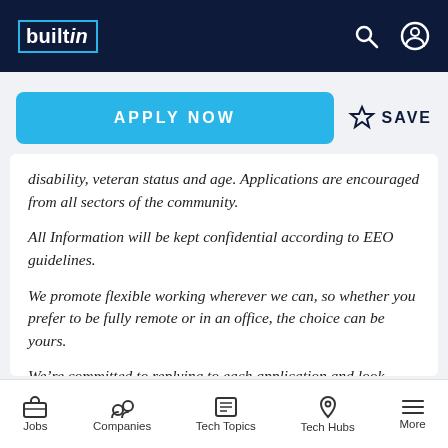builtin
APPLY NOW   ☆ SAVE
disability, veteran status and age. Applications are encouraged from all sectors of the community.
All Information will be kept confidential according to EEO guidelines.
We promote flexible working wherever we can, so whether you prefer to be fully remote or in an office, the choice can be yours.
We’re committed to replying to each application and look forward to getting in touch with you soon.
Jobs   Companies   Tech Topics   Tech Hubs   More